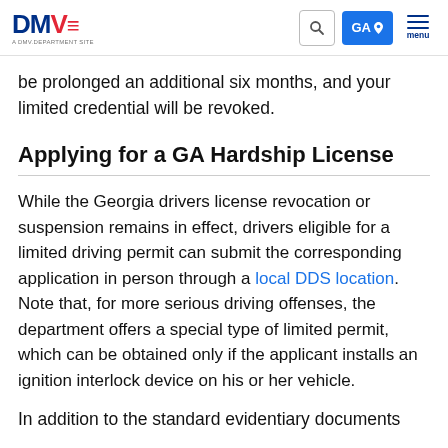DMV.com | GA | menu
be prolonged an additional six months, and your limited credential will be revoked.
Applying for a GA Hardship License
While the Georgia drivers license revocation or suspension remains in effect, drivers eligible for a limited driving permit can submit the corresponding application in person through a local DDS location. Note that, for more serious driving offenses, the department offers a special type of limited permit, which can be obtained only if the applicant installs an ignition interlock device on his or her vehicle.
In addition to the standard evidentiary documents